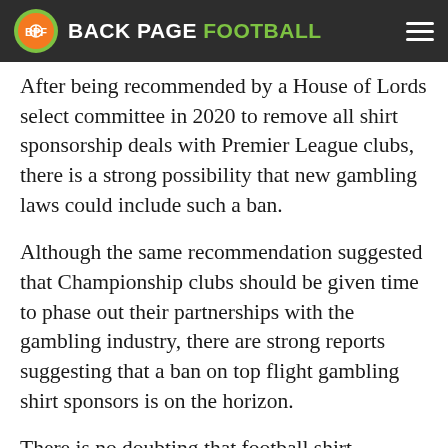BACK PAGE FOOTBALL
After being recommended by a House of Lords select committee in 2020 to remove all shirt sponsorship deals with Premier League clubs, there is a strong possibility that new gambling laws could include such a ban.
Although the same recommendation suggested that Championship clubs should be given time to phase out their partnerships with the gambling industry, there are strong reports suggesting that a ban on top flight gambling shirt sponsors is on the horizon.
There is no doubting that football shirt